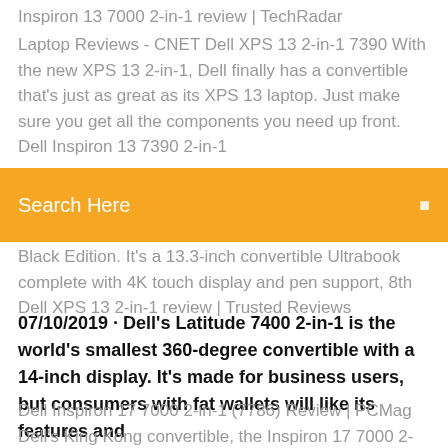Inspiron 13 7000 2-in-1 review | TechRadar
Laptop Reviews - CNET Dell XPS 13 2-in-1 7390 With the new XPS 13 2-in-1, Dell finally has a convertible that's just as great as its XPS 13 laptop. Just make sure you get all the components you need up front. Dell Inspiron 13 7390 2-in-1
Search Here
Black Edition. It's a 13.3-inch convertible Ultrabook complete with 4K touch display and pen support, 8th Dell XPS 13 2-in-1 review | Trusted Reviews
07/10/2019 · Dell's Latitude 7400 2-in-1 is the world's smallest 360-degree convertible with a 14-inch display. It's made for business users, but consumers with fat wallets will like its features and
Dell Inspiron 17 7000 2-in-1 (7786) Review | PCMag Dell's King Kong convertible, the Inspiron 17 7000 2-in-1, is a well-equipped desktop replacement that folds into an unwieldy but eye-